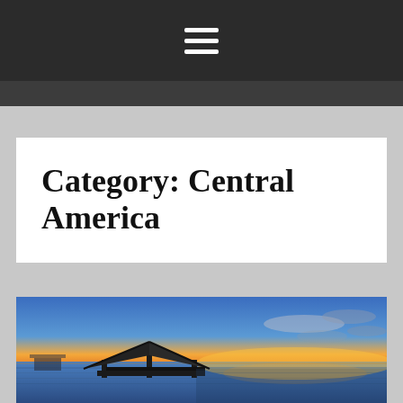≡
Category: Central America
[Figure (photo): A sunset scene over calm ocean water with a silhouette of a wooden pier/gazebo structure on the left, dramatic orange and blue sky with clouds on the horizon.]